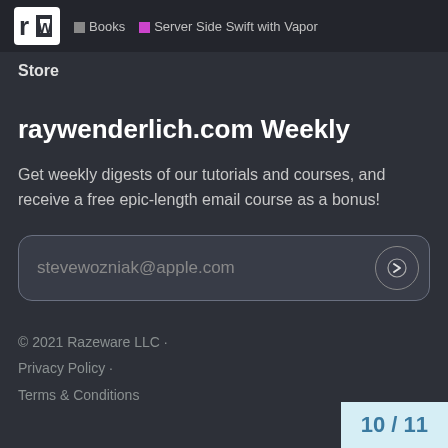Books · Server Side Swift with Vapor
Store
raywenderlich.com Weekly
Get weekly digests of our tutorials and courses, and receive a free epic-length email course as a bonus!
stevewozniak@apple.com
© 2021 Razeware LLC · Privacy Policy · Terms & Conditions
10 / 11